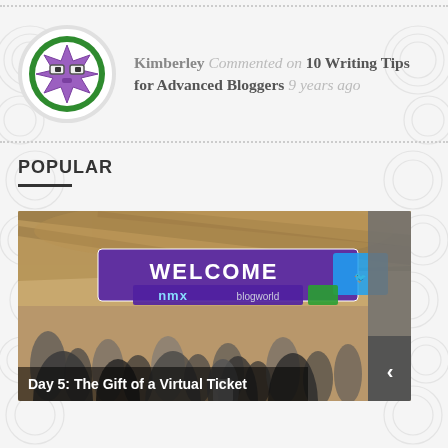[Figure (illustration): Decorative swirl/wave pattern background on left and right edges of the page]
Kimberley Commented on 10 Writing Tips for Advanced Bloggers 9 years ago
[Figure (illustration): Purple pixel/monster avatar icon inside a circular green-bordered frame]
POPULAR
[Figure (photo): Photo of a crowded conference hall with a WELCOME banner and NMX/Blogworld logos. Large crowd of people below the banner.]
Day 5: The Gift of a Virtual Ticket